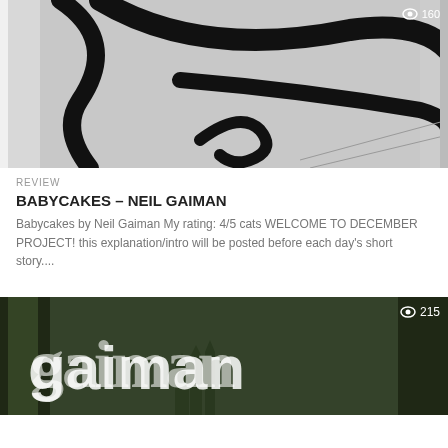[Figure (illustration): Close-up black and white comic/illustration art showing bold curved lines on a grey halftone background, resembling a Snoopy or cartoon character]
REVIEW
BABYCAKES – NEIL GAIMAN
Babycakes by Neil Gaiman My rating: 4/5 cats WELCOME TO DECEMBER PROJECT! this explanation/intro will be posted before each day's short story....
[Figure (illustration): Fantasy book cover with green and dark tones showing large white stylized text and a castle/tower in a forest scene, view count badge showing 215]